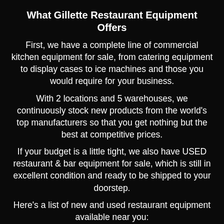What Gillette Restaurant Equipment Offers
First, we have a complete line of commercial kitchen equipment for sale, from catering equipment to display cases to ice machines and those you would require for your business.
With 2 locations and 5 warehouses, we continuously stock new products from the world's top manufacturers so that you get nothing but the best at competitive prices.
If your budget is a little tight, we also have USED restaurant & bar equipment for sale, which is still in excellent condition and ready to be shipped to your doorstep.
Here's a list of new and used restaurant equipment available near you:
Cooking Equipment